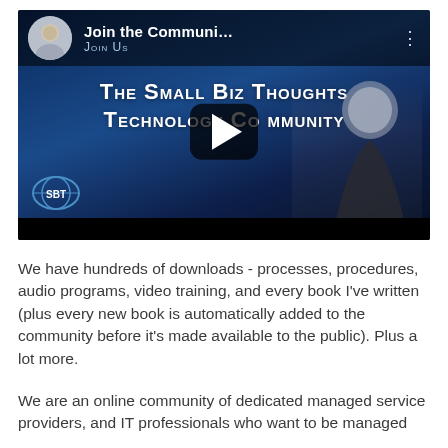[Figure (screenshot): Video thumbnail for 'Join the Communi...' showing two men, an SBT logo, a play button, and text 'The Small Biz Thoughts Technology Community'. Top bar shows avatar, title 'Join the Communi...' and subtitle 'Join Us'.]
We have hundreds of downloads - processes, procedures, audio programs, video training, and every book I've written (plus every new book is automatically added to the community before it's made available to the public). Plus a lot more.
We are an online community of dedicated managed service providers, and IT professionals who want to be managed